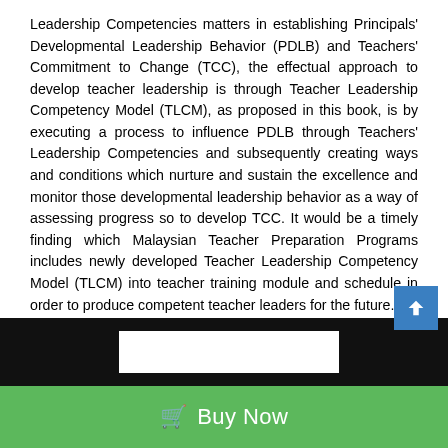Leadership Competencies matters in establishing Principals' Developmental Leadership Behavior (PDLB) and Teachers' Commitment to Change (TCC), the effectual approach to develop teacher leadership is through Teacher Leadership Competency Model (TLCM), as proposed in this book, is by executing a process to influence PDLB through Teachers' Leadership Competencies and subsequently creating ways and conditions which nurture and sustain the excellence and monitor those developmental leadership behavior as a way of assessing progress so to develop TCC. It would be a timely finding which Malaysian Teacher Preparation Programs includes newly developed Teacher Leadership Competency Model (TLCM) into teacher training module and schedule in order to produce competent teacher leaders for the future.
[Figure (other): Dark navigation bar with a white input/search box in the center and a blue scroll-to-top button on the right]
Buy Now